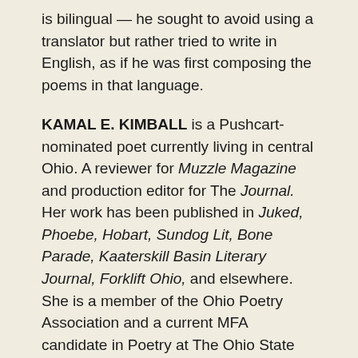is bilingual — he sought to avoid using a translator but rather tried to write in English, as if he was first composing the poems in that language.
KAMAL E. KIMBALL is a Pushcart-nominated poet currently living in central Ohio. A reviewer for Muzzle Magazine and production editor for The Journal. Her work has been published in Juked, Phoebe, Hobart, Sundog Lit, Bone Parade, Kaaterskill Basin Literary Journal, Forklift Ohio, and elsewhere. She is a member of the Ohio Poetry Association and a current MFA candidate in Poetry at The Ohio State University.
ROBERT MURPHY is the co-founder of Dos Madres Press and a prolific poet and scholar. Until the age of forty he was not a part of the vibrant literary community of the Greater Cincinnati Area. He was not an academician but made his living in